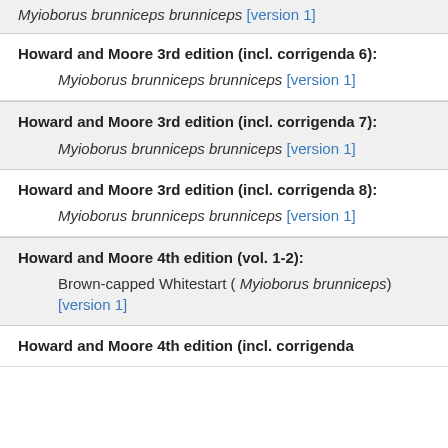Myioborus brunniceps brunniceps [version 1]
Howard and Moore 3rd edition (incl. corrigenda 6):
Myioborus brunniceps brunniceps [version 1]
Howard and Moore 3rd edition (incl. corrigenda 7):
Myioborus brunniceps brunniceps [version 1]
Howard and Moore 3rd edition (incl. corrigenda 8):
Myioborus brunniceps brunniceps [version 1]
Howard and Moore 4th edition (vol. 1-2):
Brown-capped Whitestart ( Myioborus brunniceps) [version 1]
Howard and Moore 4th edition (incl. corrigenda